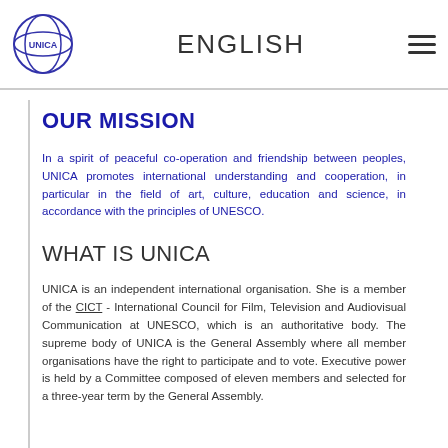ENGLISH
OUR MISSION
In a spirit of peaceful co-operation and friendship between peoples, UNICA promotes international understanding and cooperation, in particular in the field of art, culture, education and science, in accordance with the principles of UNESCO.
WHAT IS UNICA
UNICA is an independent international organisation. She is a member of the CICT - International Council for Film, Television and Audiovisual Communication at UNESCO, which is an authoritative body. The supreme body of UNICA is the General Assembly where all member organisations have the right to participate and to vote. Executive power is held by a Committee composed of eleven members and selected for a three-year term by the General Assembly.